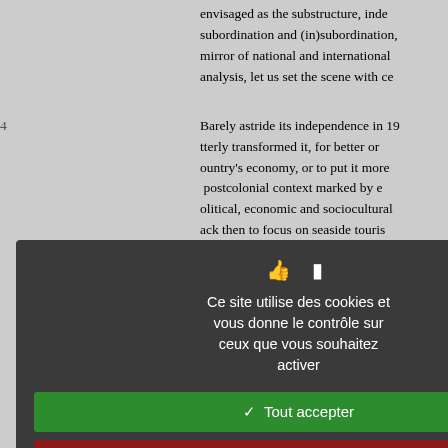envisaged as the substructure, inde subordination and (in)subordination, mirror of national and international analysis, let us set the scene with ce
4   Barely astride its independence in 19 tterly transformed it, for better or ountry's economy, or to put it more postcolonial context marked by e olitical, economic and sociocultural ack then to focus on seaside touris ourism, has bogged the country do eyond just the urban-rural one, a di ransmogrified by these hotels, and hange or progress.
Worse yet, the installation of hotel c rmed a demarcation line dividing th ssentially of tourist zones, sports the pvely, developed, well-to-do. The s ackward, withdrawn, turned in on ision', which has infected the colle resent, has left the country with a sp dentity, disturbed, wounded, fractur rapped in this image, they see th
[Figure (screenshot): Cookie consent modal dialog overlay with dark background. Contains two icons (thumbs up and document), French text 'Ce site utilise des cookies et vous donne le contrôle sur ceux que vous souhaitez activer', a green 'Tout accepter' button, a red 'Tout refuser' button, a white 'Personnaliser' button, and a 'Politique de confidentialité' link.]